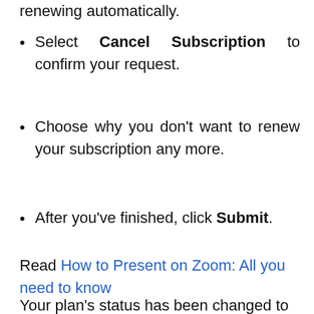renewing automatically.
Select Cancel Subscription to confirm your request.
Choose why you don't want to renew your subscription any more.
After you've finished, click Submit.
Read How to Present on Zoom: All you need to know
Your plan's status has been changed to